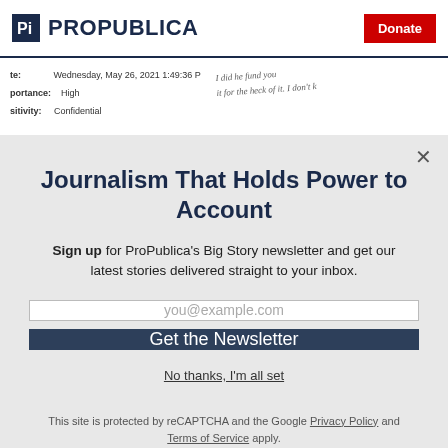[Figure (logo): ProPublica logo with shield icon and text]
Donate
te: Wednesday, May 26, 2021 1:49:36 P
portance: High
sitivity: Confidential
[Figure (photo): Handwritten cursive text partially visible on right side of document strip]
Journalism That Holds Power to Account
Sign up for ProPublica's Big Story newsletter and get our latest stories delivered straight to your inbox.
you@example.com
Get the Newsletter
No thanks, I'm all set
This site is protected by reCAPTCHA and the Google Privacy Policy and Terms of Service apply.